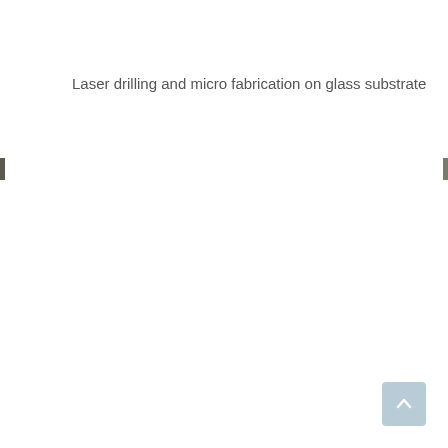Laser drilling and micro fabrication on glass substrate